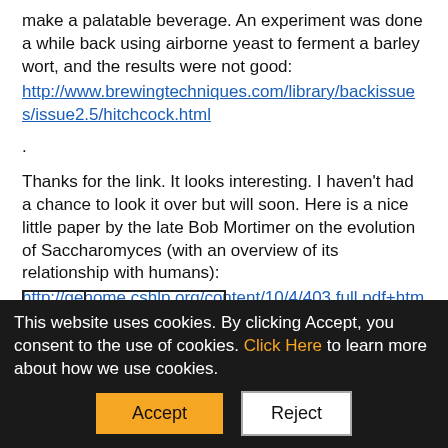make a palatable beverage. An experiment was done a while back using airborne yeast to ferment a barley wort, and the results were not good:
http://www.brewingtechniques.com/library/backissues/issue2.5/hitchcock.html.
Thanks for the link. It looks interesting. I haven't had a chance to look it over but will soon. Here is a nice little paper by the late Bob Mortimer on the evolution of Saccharomyces (with an overview of its relationship with humans):
http://genome.cshlp.org/content/10/4/403.full.pdf+html.
[Figure (other): Thumbs up kudos button showing 0 Kudos]
This website uses cookies. By clicking Accept, you consent to the use of cookies. Click Here to learn more about how we use cookies.